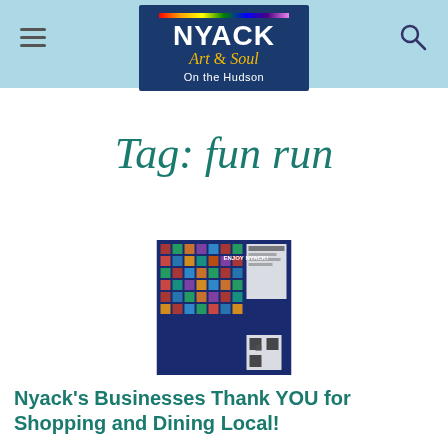NYACK Art & Soul On the Hudson
Tag: fun run
[Figure (photo): Nyack businesses collage advertisement image with grid of local business photos on dark blue background, labeled ENJOY NYACK]
Nyack's Businesses Thank YOU for Shopping and Dining Local!